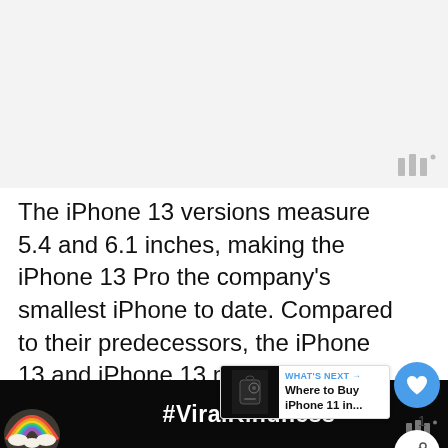[Figure (screenshot): Top light gray image area with watermark logo in bottom right corner (three vertical bars with small dot)]
The iPhone 13 versions measure 5.4 and 6.1 inches, making the iPhone 13 Pro the company's smallest iPhone to date. Compared to their predecessors, the iPhone 13 and iPhone 13 mini come thicker and heavier.
To be more precise, the iPhone [partially obscured] inches tall and 2.82 inches wide, while th[cut off]
[Figure (screenshot): Bottom advertisement bar with rainbow illustration and #ViralKindness text in white on dark background, with close X button and watermark]